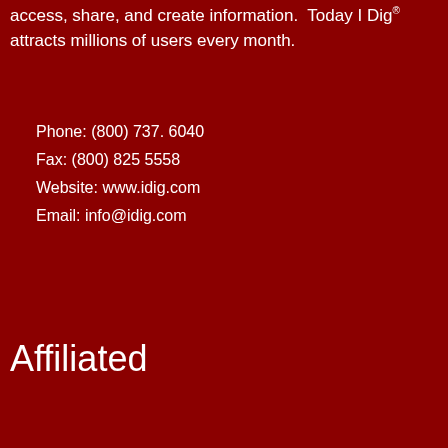access, share, and create information. Today I Dig® attracts millions of users every month.
Phone: (800) 737. 6040
Fax: (800) 825 5558
Website: www.idig.com
Email: info@idig.com
Affiliated